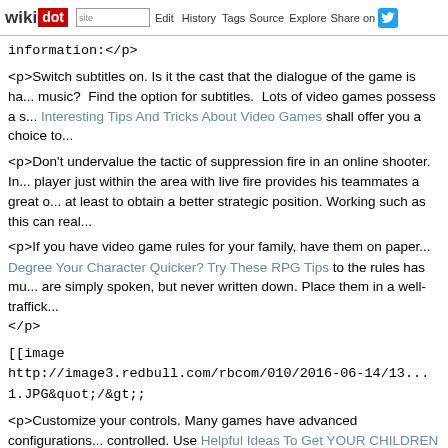wikidot | site | Edit | History | Tags | Source | Explore | Share on [twitter]
information:</p>
<p>Switch subtitles on. Is it the cast that the dialogue of the game is ha... music? Find the option for subtitles. Lots of video games possess a s... Interesting Tips And Tricks About Video Games shall offer you a choice to...
<p>Don't undervalue the tactic of suppression fire in an online shooter. In... player just within the area with live fire provides his teammates a great o... at least to obtain a better strategic position. Working such as this can real...
<p>If you have video game rules for your family, have them on paper... Degree Your Character Quicker? Try These RPG Tips to the rules has mu... are simply spoken, but never written down. Place them in a well-traffick... </p>
[[image http://image3.redbull.com/rbcom/010/2016-06-14/13... 1.JPG&quot;/&gt;;
<p>Customize your controls. Many games have advanced configurations... controlled. Use Helpful Ideas To Get YOUR CHILDREN To Stop Playin... advantage. There is nothing that says you must enjoy with the game's... have become familiar with jumping with one button and attacking with a... opposite - change it!</p>
<p>If your son or daughter is playing video games, steer clear of multipla... chat feature, which means that your child may be talking with people m... make sure that you monitor play time to ensure that you know what your c...
<p>Preorder games if they offer a discount on the purchase. You could ha... spend less on the purchase price or get other unique perks when you pre...